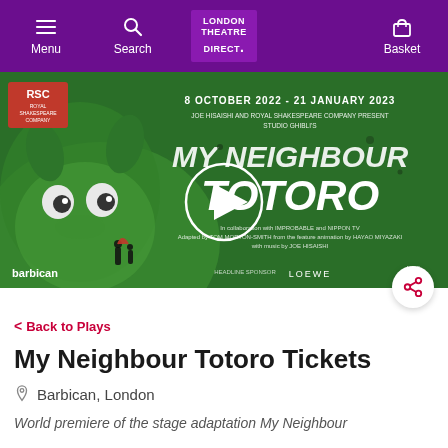Menu | LONDON THEATRE DIRECT. | Search | Basket
[Figure (photo): My Neighbour Totoro theatrical poster showing Totoro character on green background with RSC logo, play title, dates 8 October 2022 - 21 January 2023, Barbican and LOEWE logos, with a video play button overlay]
< Back to Plays
My Neighbour Totoro Tickets
Barbican, London
World premiere of the stage adaptation My Neighbour